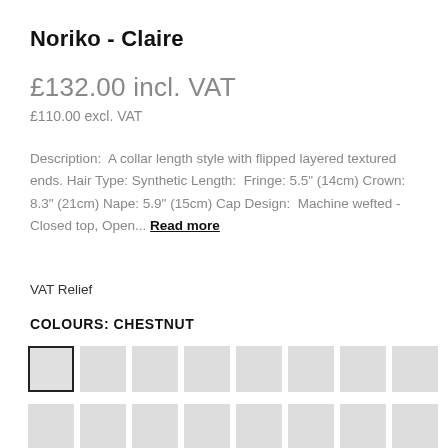Noriko - Claire
£132.00 incl. VAT
£110.00 excl. VAT
Description:  A collar length style with flipped layered textured ends. Hair Type: Synthetic Length:  Fringe: 5.5" (14cm) Crown: 8.3" (21cm) Nape: 5.9" (15cm) Cap Design:  Machine wefted - Closed top, Open... Read more
VAT Relief
COLOURS: CHESTNUT
[Figure (other): Two rows of colour swatches (squares). First row has 8 swatches, the first one selected with a dark border. Second row has 8 swatches, all unselected.]